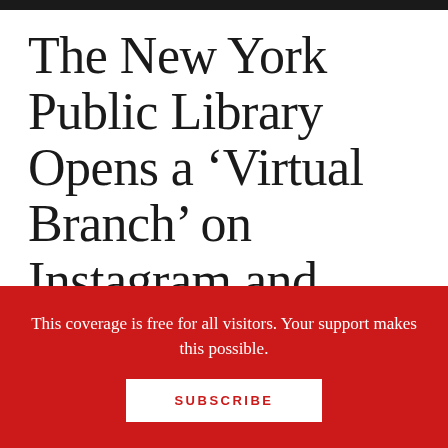The New York Public Library Opens a ‘Virtual Branch’ on Instagram and Launches a Reading Recommendation Project Using Augmented Reality Technology
This coverage is free for all visitors. Your support makes this possible.
SUBSCRIBE